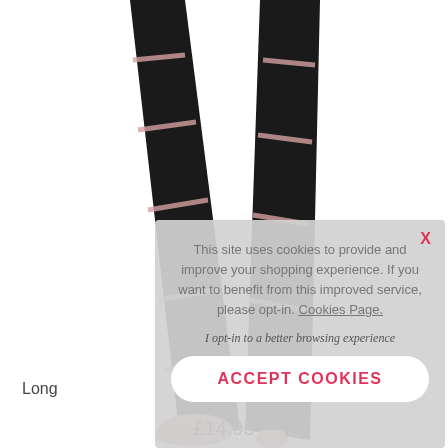[Figure (photo): A dancer's legs wearing black leg warmers with pink horizontal stripe accents and pink ballet slippers, against a white background.]
Long
£14.95
This site uses cookies to provide and improve your shopping experience. If you want to benefit from this improved service, please opt-in. Cookies Page.
I opt-in to a better browsing experience
ACCEPT COOKIES